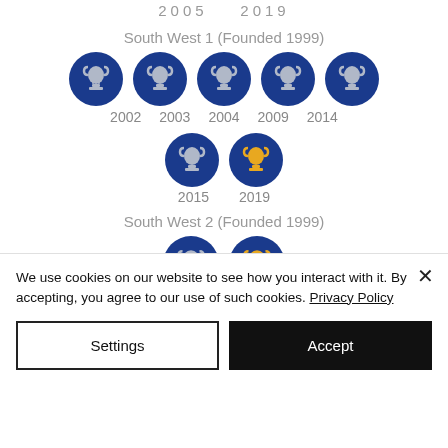2005  2019
South West 1 (Founded 1999)
[Figure (infographic): Five dark blue circles each containing a silver trophy icon, labeled 2002, 2003, 2004, 2009, 2014]
[Figure (infographic): Two dark blue circles: left has silver trophy (2015), right has gold trophy (2019)]
South West 2 (Founded 1999)
[Figure (infographic): Two dark blue circles: left has silver trophy, right has gold trophy (partially visible)]
We use cookies on our website to see how you interact with it. By accepting, you agree to our use of such cookies. Privacy Policy
Settings
Accept